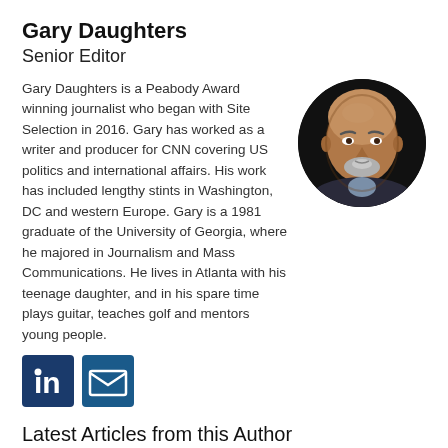Gary Daughters
Senior Editor
Gary Daughters is a Peabody Award winning journalist who began with Site Selection in 2016. Gary has worked as a writer and producer for CNN covering US politics and international affairs. His work has included lengthy stints in Washington, DC and western Europe. Gary is a 1981 graduate of the University of Georgia, where he majored in Journalism and Mass Communications. He lives in Atlanta with his teenage daughter, and in his spare time plays guitar, teaches golf and mentors young people.
[Figure (photo): Circular headshot photo of Gary Daughters, a man with a shaved head and grey goatee, wearing a dark suit, against a dark background.]
[Figure (infographic): LinkedIn icon (blue square with 'in') and email/envelope icon (blue square with envelope symbol) — social media contact buttons.]
Latest Articles from this Author
News Briefs: World Reports
Timber & Sawmills: The Buzz Is  Growing Louder
Agribusiness & Food Production: Local Is Better